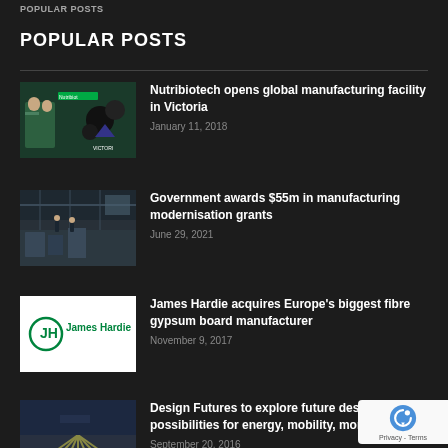POPULAR POSTS
POPULAR POSTS
Nutribiotech opens global manufacturing facility in Victoria — January 11, 2018
Government awards $55m in manufacturing modernisation grants — June 29, 2021
James Hardie acquires Europe's biggest fibre gypsum board manufacturer — November 9, 2017
Design Futures to explore future design possibilities for energy, mobility, mone… — September 20, 2016